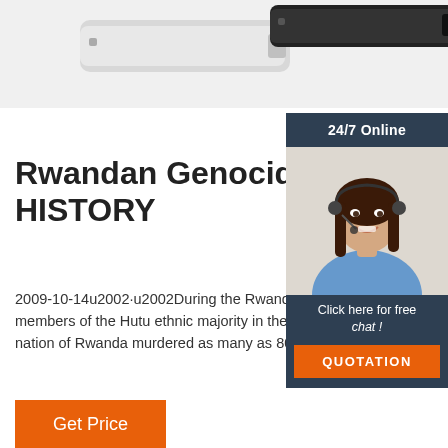[Figure (photo): Product images showing two elongated devices (one white/silver, one black) resembling USB drives or similar hardware accessories, partially visible at top of page]
Rwandan Genocide - HISTORY
2009-10-14u2002·u2002During the Rwandan genocide of 1994, members of the Hutu ethnic majority in the east-central African nation of Rwanda murdered as many as 800,000 pe
[Figure (photo): 24/7 Online chat widget with photo of smiling woman wearing headset. Dark blue-gray background with text 'Click here for free chat!' and orange QUOTATION button.]